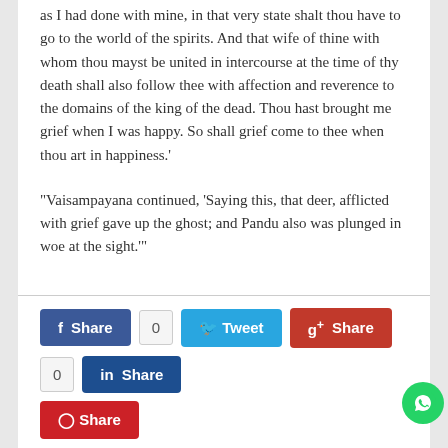as I had done with mine, in that very state shalt thou have to go to the world of the spirits. And that wife of thine with whom thou mayst be united in intercourse at the time of thy death shall also follow thee with affection and reverence to the domains of the king of the dead. Thou hast brought me grief when I was happy. So shall grief come to thee when thou art in happiness.'
“Vaisampayana continued, ‘Saying this, that deer, afflicted with grief gave up the ghost; and Pandu also was plunged in woe at the sight.’”
[Figure (infographic): Social share buttons row: Facebook Share with count 0, Tweet button, Google+ Share with count 0, LinkedIn Share button; second row: Pinterest Share button]
[Figure (infographic): Pagination bar: Back, 61, 62 (active/orange), 63, 64, 65, 66, 67, 68, 69, 70]